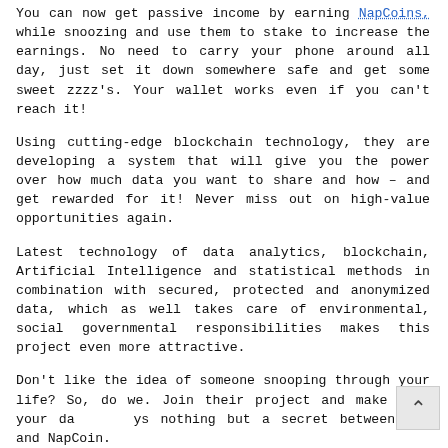You can now get passive income by earning NapCoins, while snoozing and use them to stake to increase the earnings. No need to carry your phone around all day, just set it down somewhere safe and get some sweet zzzz's. Your wallet works even if you can't reach it!
Using cutting-edge blockchain technology, they are developing a system that will give you the power over how much data you want to share and how – and get rewarded for it! Never miss out on high-value opportunities again.
Latest technology of data analytics, blockchain, Artificial Intelligence and statistical methods in combination with secured, protected and anonymized data, which as well takes care of environmental, social governmental responsibilities makes this project even more attractive.
Don't like the idea of someone snooping through your life? So, do we. Join their project and make sure your data always nothing but a secret between you and NapCoin.